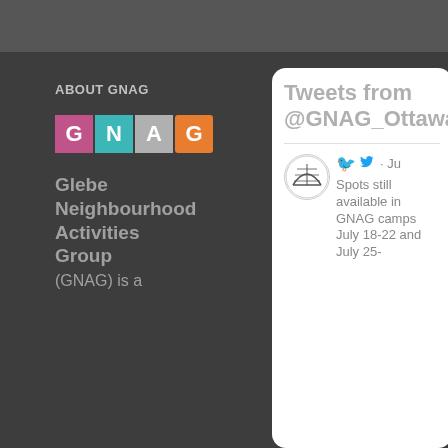ABOUT GNAG
[Figure (logo): GNAG logo with four colored letter boxes: G (pink), N (teal), A (gray), G (orange)]
Glebe Neighbourhood Activities Group (GNAG) is a
Contact Info
175 Third Avenue
Email:
info(at)gnag.ca
[Figure (other): Social media icons: Facebook, Twitter, Instagram]
Important Links
[Figure (screenshot): Twitter widget showing Tweets from @GNAG_Ottawa with a tweet about GNAG camps spots available July 18-22 and July 25-]